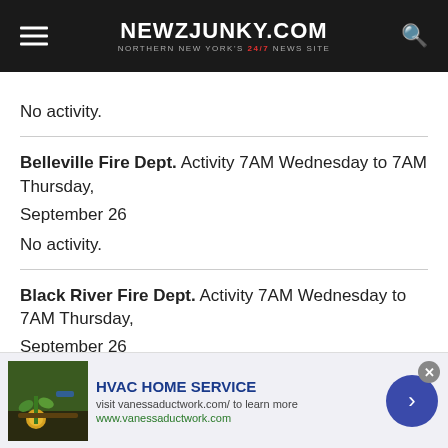NEWZJUNKY.COM — NORTHERN NEW YORK'S 24/7 NEWS SITE
No activity.
Belleville Fire Dept. Activity 7AM Wednesday to 7AM Thursday, September 26
No activity.
Black River Fire Dept. Activity 7AM Wednesday to 7AM Thursday, September 26
12:17:40  09/25/19 TRAFFIC W/INJUR FIVE CORNERS RD &
[Figure (other): HVAC Home Service advertisement banner with garden image, title 'HVAC HOME SERVICE', subtitle 'visit vanessaductwork.com/ to learn more', url 'www.vanessaductwork.com', close button and forward arrow button.]